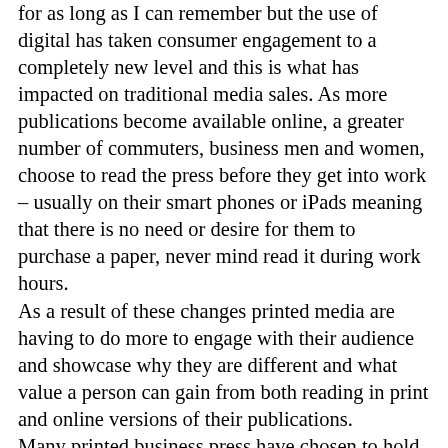for as long as I can remember but the use of digital has taken consumer engagement to a completely new level and this is what has impacted on traditional media sales. As more publications become available online, a greater number of commuters, business men and women, choose to read the press before they get into work – usually on their smart phones or iPads meaning that there is no need or desire for them to purchase a paper, never mind read it during work hours. As a result of these changes printed media are having to do more to engage with their audience and showcase why they are different and what value a person can gain from both reading in print and online versions of their publications. Many printed business press have chosen to hold round table events, which bring together market leaders – this gives them the time to debate current industry topics, while also providing the journalist with the chance to sit in a room full of potential content and if they time it right an exclusive or two! Most publications now have online versions as well as